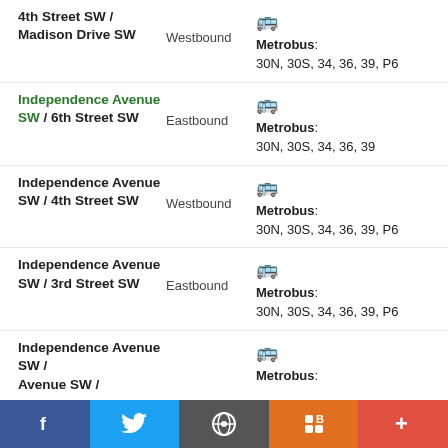4th Street SW / Madison Drive SW | Westbound | Metrobus: 30N, 30S, 34, 36, 39, P6
Independence Avenue SW / 6th Street SW | Eastbound | Metrobus: 30N, 30S, 34, 36, 39
Independence Avenue SW / 4th Street SW | Westbound | Metrobus: 30N, 30S, 34, 36, 39, P6
Independence Avenue SW / 3rd Street SW | Eastbound | Metrobus: 30N, 30S, 34, 36, 39, P6
Independence Avenue SW / ... | ... | Metrobus: